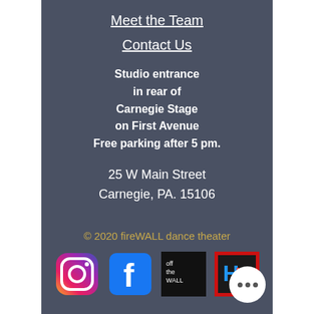Meet the Team
Contact Us
Studio entrance in rear of Carnegie Stage on First Avenue Free parking after 5 pm.
25 W Main Street Carnegie, PA. 15106
© 2020 fireWALL dance theater
[Figure (logo): Row of four social/brand icons: Instagram, Facebook, Off the Wall, and a red-bordered brand logo]
[Figure (other): White circular button with three dots (ellipsis/more button) in bottom right corner]